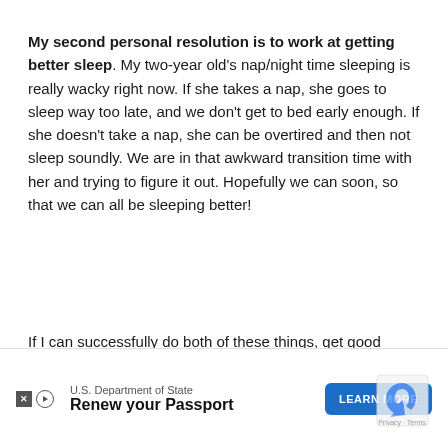My second personal resolution is to work at getting better sleep. My two-year old's nap/night time sleeping is really wacky right now. If she takes a nap, she goes to sleep way too late, and we don't get to bed early enough. If she doesn't take a nap, she can be overtired and then not sleep soundly. We are in that awkward transition time with her and trying to figure it out. Hopefully we can soon, so that we can all be sleeping better!
If I can successfully do both of these things, get good sleep and eat a lot of nutrient dense foods, we going some
[Figure (other): Advertisement overlay: U.S. Department of State - Renew your Passport, with a LEARN MORE button, X and play icon buttons, and a reCAPTCHA logo in the bottom right]